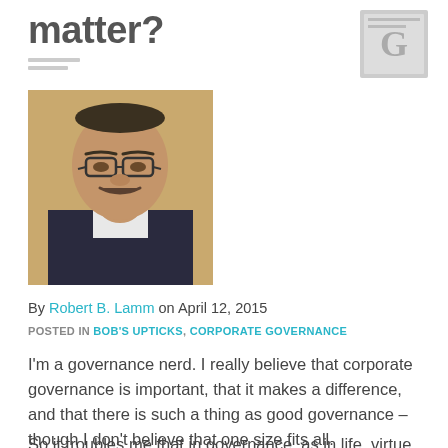matter?
[Figure (logo): Gray square logo with stylized 'G' letter icon]
[Figure (photo): Headshot photo of Robert B. Lamm, a middle-aged man with glasses and a mustache wearing a suit]
By Robert B. Lamm on April 12, 2015
POSTED IN BOB'S UPTICKS, CORPORATE GOVERNANCE
I'm a governance nerd. I really believe that corporate governance is important, that it makes a difference, and that there is such a thing as good governance – though I don't believe that one size fits all.
So it troubles me that in governance, as in life, virtue